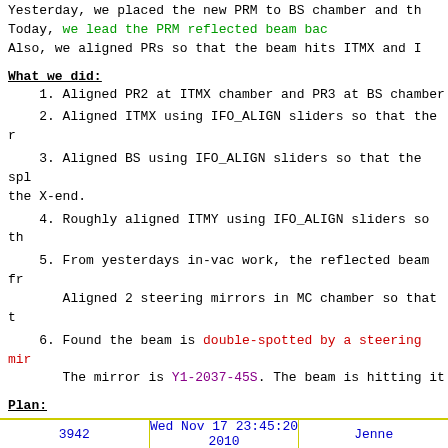Yesterday, we placed the new PRM to BS chamber and th
Today, we lead the PRM reflected beam bac
Also, we aligned PRs so that the beam hits ITMX and I
What we did:
1. Aligned PR2 at ITMX chamber and PR3 at BS chamber
2. Aligned ITMX using IFO_ALIGN sliders so that the r
3. Aligned BS using IFO_ALIGN sliders so that the spl the X-end.
4. Roughly aligned ITMY using IFO_ALIGN sliders so th
5. From yesterdays in-vac work, the reflected beam fr Aligned 2 steering mirrors in MC chamber so that t
6. Found the beam is double-spotted by a steering mir The mirror is Y1-2037-45S. The beam is hitting it
Plan:
- replace the steering mirror right next to the Farad
- recyled Michealson
Note:
We had to use "ITMX" channels to align ITMY. We have Also, damping servo for ITMs does not seem to work. W
3942 | Wed Nov 17 23:45:20 2010 | Jenne